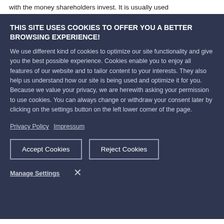with the money shareholders invest. It is usually used to compare companies within a same industry by
THIS SITE USES COOKIES TO OFFER YOU A BETTER BROWSING EXPERIENCE!
We use different kind of cookies to optimize our site functionality and give you the best possible experience. Cookies enable you to enjoy all features of our website and to tailor content to your interests. They also help us understand how our site is being used and optimize it for you. Because we value your privacy, we are herewith asking your permission to use cookies. You can always change or withdraw your consent later by clicking on the settings button on the left lower corner of the page.
Privacy Policy   Impressum
Accept Cookies
Reject Cookies
Manage Settings